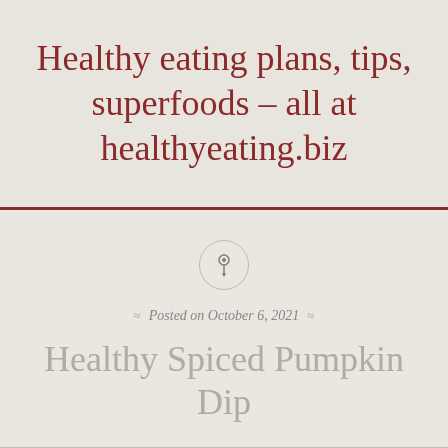Healthy eating plans, tips, superfoods – all at healthyeating.biz
[Figure (illustration): A small circular pin/thumbtack icon inside a circle, centered on the page]
Posted on October 6, 2021
Healthy Spiced Pumpkin Dip